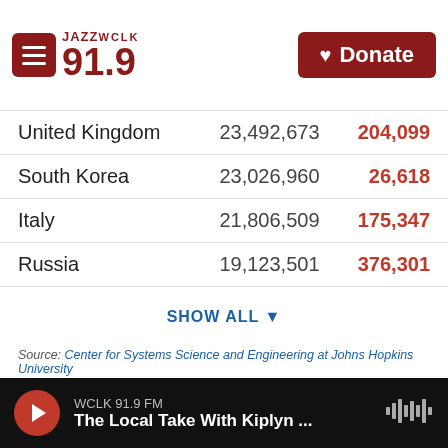JAZZ WCLK 91.9 | Donate
| Country | Cases | Deaths |
| --- | --- | --- |
| United Kingdom | 23,492,673 | 204,099 |
| South Korea | 23,026,960 | 26,618 |
| Italy | 21,806,509 | 175,347 |
| Russia | 19,123,501 | 376,301 |
SHOW ALL ▼
Source: Center for Systems Science and Engineering at Johns Hopkins University
Explore how the number of coronavirus cases have shifted in different parts of the world over time. The first chart compares each continent to each other, while the next charts highlight the number of cases in select countries by region.
WCLK 91.9 FM — The Local Take With Kiplyn ...